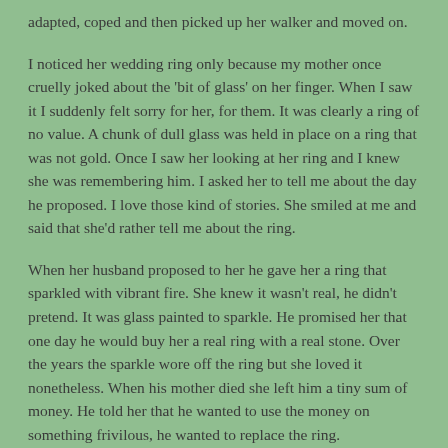adapted, coped and then picked up her walker and moved on.
I noticed her wedding ring only because my mother once cruelly joked about the 'bit of glass' on her finger. When I saw it I suddenly felt sorry for her, for them. It was clearly a ring of no value. A chunk of dull glass was held in place on a ring that was not gold. Once I saw her looking at her ring and I knew she was remembering him. I asked her to tell me about the day he proposed. I love those kind of stories. She smiled at me and said that she'd rather tell me about the ring.
When her husband proposed to her he gave her a ring that sparkled with vibrant fire. She knew it wasn't real, he didn't pretend. It was glass painted to sparkle. He promised her that one day he would buy her a real ring with a real stone. Over the years the sparkle wore off the ring but she loved it nonetheless. When his mother died she left him a tiny sum of money. He told her that he wanted to use the money on something frivilous, he wanted to replace the ring.
She told him that she didn't want another ring. That this ring, the one he gave her, made her think of their marriage. After the shine